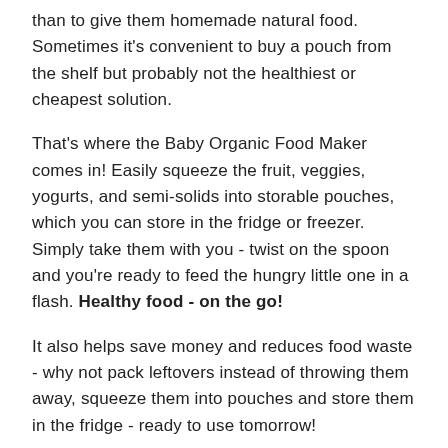than to give them homemade natural food. Sometimes it's convenient to buy a pouch from the shelf but probably not the healthiest or cheapest solution.
That's where the Baby Organic Food Maker comes in! Easily squeeze the fruit, veggies, yogurts, and semi-solids into storable pouches, which you can store in the fridge or freezer. Simply take them with you - twist on the spoon and you're ready to feed the hungry little one in a flash. Healthy food - on the go!
It also helps save money and reduces food waste - why not pack leftovers instead of throwing them away, squeeze them into pouches and store them in the fridge - ready to use tomorrow!
The Baby Organic Food Maker is designed with rigid lightweight plastics with nonslip feet. Three food channels connect directly to the BPA-free food pouches. Using the rubber-coated press gently squeeze the pureed food directly into the pouch. Pop on the twistable cap and they